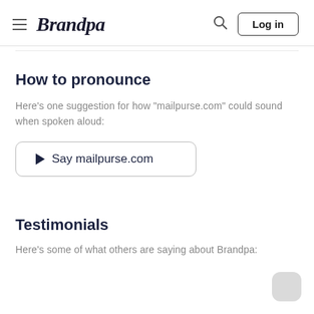Brandpa — Log in
How to pronounce
Here's one suggestion for how "mailpurse.com" could sound when spoken aloud:
▶ Say mailpurse.com
Testimonials
Here's some of what others are saying about Brandpa: